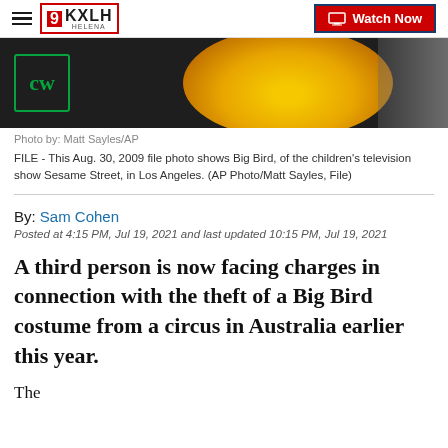9KXLH Helena | Watch Now
[Figure (photo): Partial photo showing Big Bird yellow feathers and CW network logo on dark background]
Photo by: Matt Sayles/AP
FILE - This Aug. 30, 2009 file photo shows Big Bird, of the children's television show Sesame Street, in Los Angeles. (AP Photo/Matt Sayles, File)
By: Sam Cohen
Posted at 4:15 PM, Jul 19, 2021 and last updated 10:15 PM, Jul 19, 2021
A third person is now facing charges in connection with the theft of a Big Bird costume from a circus in Australia earlier this year.
The...